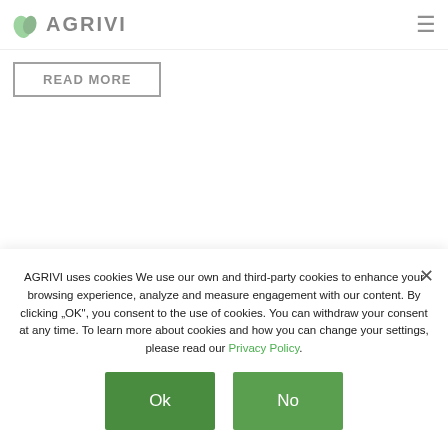AGRIVI
READ MORE
AGRIVI uses cookies We use our own and third-party cookies to enhance your browsing experience, analyze and measure engagement with our content. By clicking „OK“, you consent to the use of cookies. You can withdraw your consent at any time. To learn more about cookies and how you can change your settings, please read our Privacy Policy.
Ok
No